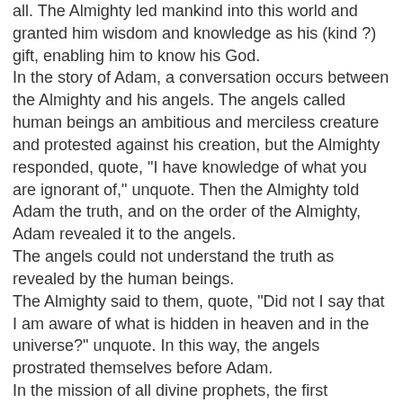all. The Almighty led mankind into this world and granted him wisdom and knowledge as his (kind ?) gift, enabling him to know his God.
In the story of Adam, a conversation occurs between the Almighty and his angels. The angels called human beings an ambitious and merciless creature and protested against his creation, but the Almighty responded, quote, "I have knowledge of what you are ignorant of," unquote. Then the Almighty told Adam the truth, and on the order of the Almighty, Adam revealed it to the angels.
The angels could not understand the truth as revealed by the human beings.
The Almighty said to them, quote, "Did not I say that I am aware of what is hidden in heaven and in the universe?" unquote. In this way, the angels prostrated themselves before Adam.
In the mission of all divine prophets, the first sermons were of the words of God, and those words "piety," "faith" and "wisdom" have been spread to all mankind. Guiding the holy prophet Moses -- may peace be upon him -- God says, quote, "And he was taught wisdom, the divine book, the Old Testament and the New Testament. He is the prophet